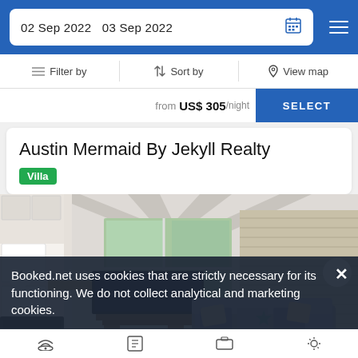02 Sep 2022   03 Sep 2022
Filter by   Sort by   View map
from US$ 305/night  SELECT
Austin Mermaid By Jekyll Realty
Villa
[Figure (photo): Interior living room with vaulted ceiling, TV on stand, sectional sofa, large windows with blinds and garden view]
Booked.net uses cookies that are strictly necessary for its functioning. We do not collect analytical and marketing cookies.